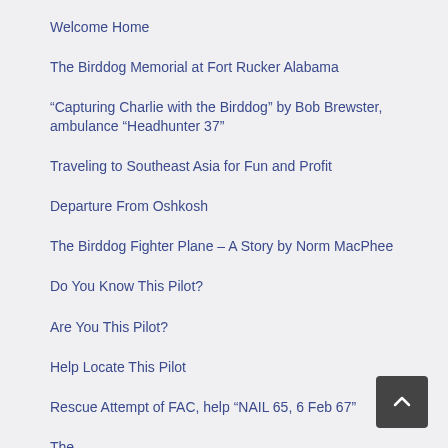Welcome Home
The Birddog Memorial at Fort Rucker Alabama
“Capturing Charlie with the Birddog” by Bob Brewster, ambulance “Headhunter 37”
Traveling to Southeast Asia for Fun and Profit
Departure From Oshkosh
The Birddog Fighter Plane – A Story by Norm MacPhee
Do You Know This Pilot?
Are You This Pilot?
Help Locate This Pilot
Rescue Attempt of FAC, help “NAIL 65, 6 Feb 67”
The (partially visible)